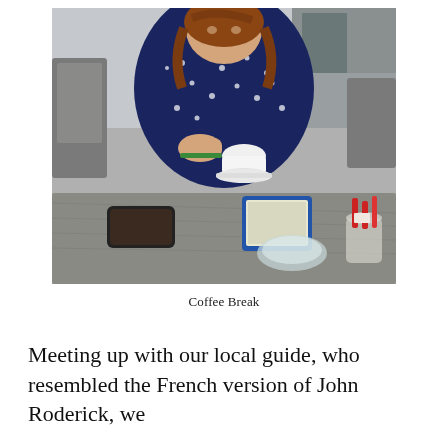[Figure (photo): A woman sitting at an outdoor café table, wearing a dark navy blue polka-dot dress. She is holding a small white espresso cup. On the table in front of her are a smartphone, a Kindle e-reader with a blue case, a glass ashtray, and a cup with red pens/markers.]
Coffee Break
Meeting up with our local guide, who resembled the French version of John Roderick, we